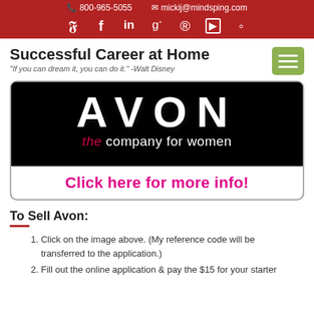📞 800-965-5055  ✉ mickij@mindsping.com
[Figure (logo): Social media icons: Twitter, Facebook, LinkedIn, Google+, Pinterest, YouTube, Instagram on red background]
Successful Career at Home
"If you can dream it, you can do it." -Walt Disney
[Figure (logo): AVON logo on black background with tagline 'the company for women' and 'Click here for more info!' button]
To Sell Avon:
1. Click on the image above. (My reference code will be transferred to the application.)
2. Fill out the online application & pay the $15 for your starter